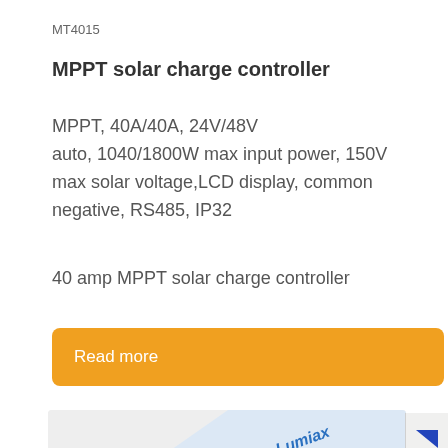MT4015
MPPT solar charge controller
MPPT, 40A/40A, 24V/48V auto, 1040/1800W max input power, 150V max solar voltage,LCD display, common negative, RS485, IP32
40 amp MPPT solar charge controller
Read more
[Figure (photo): Partial view of a Lumiax branded solar charge controller product, shown at an angle with blue casing and Lumiax branding text visible]